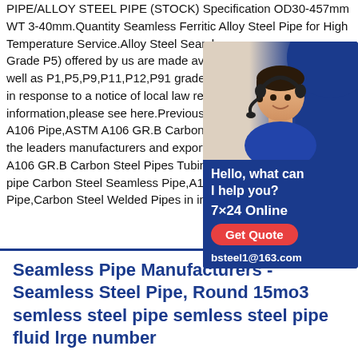PIPE/ALLOY STEEL PIPE (STOCK) Specification OD30-457mm WT 3-40mm.Quantity Seamless Ferritic Alloy Steel Pipe for High Temperature Service.Alloy Steel Seamless Grade P5) offered by us are made available well as P1,P5,P9,P11,P12,P91 grades.S in response to a notice of local law requirement information,please see here.Previous123 A106 Pipe,ASTM A106 GR.B Carbon Steel the leaders manufacturers and exporters A106 GR.B Carbon Steel Pipes Tubing pipe Carbon Steel Seamless Pipe,A106 Pipe,Carbon Steel Welded Pipes in india.
[Figure (illustration): Chat support agent advertisement box with woman wearing headset, text 'Hello, what can I help you?', '7x24 Online', 'Get Quote' button, and email 'bsteel1@163.com' on dark blue background]
Seamless Pipe Manufacturers - Seamless Steel Pipe, Round 15mo3 semless steel pipe semless steel pipe fluid lrge number